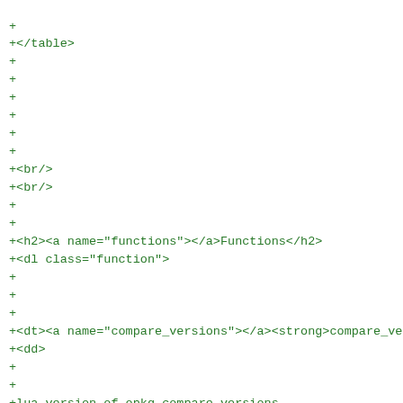+
+</table>
+
+
+
+
+
+
+<br/>
+<br/>
+
+
+<h2><a name="functions"></a>Functions</h2>
+<dl class="function">
+
+
+
+<dt><a name="compare_versions"></a><strong>compare_versions
+<dd>
+
+
+lua version of opkg compare-versions
+
+
+
+<h3>Parameters</h3>
+<ul>
+
+        <li>
+          ver1: string version 1
+        </li>
+